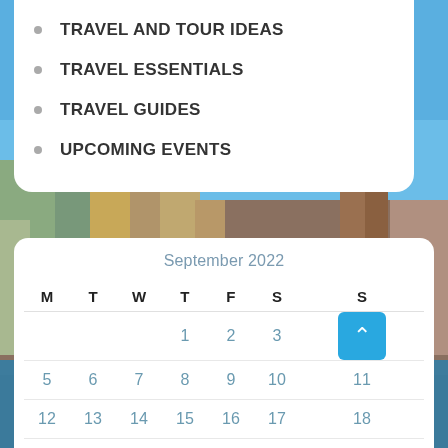TRAVEL AND TOUR IDEAS
TRAVEL ESSENTIALS
TRAVEL GUIDES
UPCOMING EVENTS
[Figure (photo): Aerial cityscape of Stockholm or similar European city with waterfront, colorful buildings, and church spires against a blue sky]
| M | T | W | T | F | S | S |
| --- | --- | --- | --- | --- | --- | --- |
|  |  |  | 1 | 2 | 3 | 4 |
| 5 | 6 | 7 | 8 | 9 | 10 | 11 |
| 12 | 13 | 14 | 15 | 16 | 17 | 18 |
| 19 | 20 | 21 | 22 | 23 | 24 | 25 |